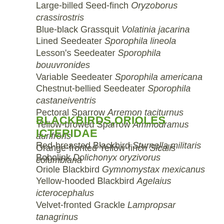Large-billed Seed-finch Oryzoborus crassirostris
Blue-black Grassquit Volatinia jacarina
Lined Seedeater Sporophila lineola
Lesson's Seedeater Sporophila bouuvronides
Variable Seedeater Sporophila americana
Chestnut-bellied Seedeater Sporophila castaneiventris
Pectoral Sparrow Arremon taciturnus
Yellow-browed Sparrow Ammodramus aurifrons
Orange-fronted Yellow-finch Sicalis columbiana
BLACKBIRDS,ORIOLES ICTERIDAE
Red-breasted Blackbird Sturnella militaris
Bobolink Dolichonyx oryzivorus
Oriole Blackbird Gymnomystax mexicanus
Yellow-hooded Blackbird Agelaius icterocephalus
Velvet-fronted Grackle Lampropsar tanagrinus
Shiny Cowbird Molothrus bonariensis
Giant Cowbird Scaphidura oryzivora
Moriche Oriole Icterus chrysocephalus